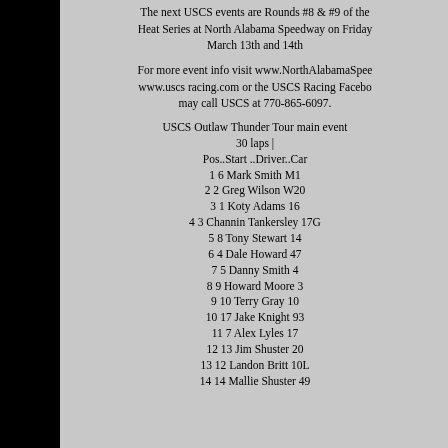The next USCS events are Rounds #8 & #9 of the Heat Series at North Alabama Speedway on Friday and March 13th and 14th
For more event info visit www.NorthAlabamaSpeedway.com, www.uscs racing.com or the USCS Racing Facebook page or may call USCS at 770-865-6097.
USCS Outlaw Thunder Tour main event 30 laps | Pos..Start ..Driver..Car
1 6 Mark Smith M1
2 2 Greg Wilson W20
3 1 Koty Adams 16
4 3 Channin Tankersley 17G
5 8 Tony Stewart 14
6 4 Dale Howard 47
7 5 Danny Smith 4
8 9 Howard Moore 3
9 10 Terry Gray 10
10 17 Jake Knight 93
11 7 Alex Lyles 17
12 13 Jim Shuster 20
13 12 Landon Britt 10L
14 14 Mallie Shuster 49